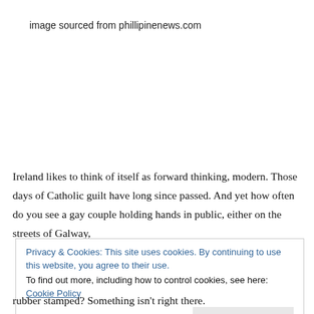image sourced from phillipinenews.com
Ireland likes to think of itself as forward thinking, modern. Those days of Catholic guilt have long since passed. And yet how often do you see a gay couple holding hands in public, either on the streets of Galway,
Privacy & Cookies: This site uses cookies. By continuing to use this website, you agree to their use.
To find out more, including how to control cookies, see here: Cookie Policy
[Close and accept]
rubber stamped? Something isn't right there.